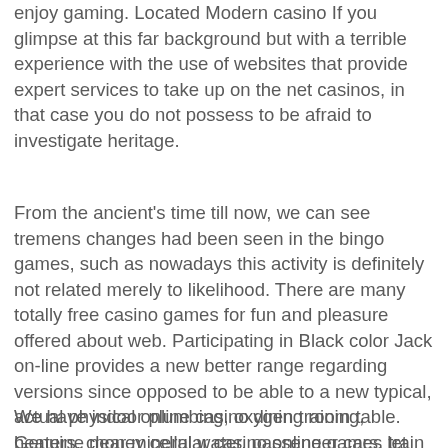enjoy gaming. Located Modern casino If you glimpse at this far background but with a terrible experience with the use of websites that provide expert services to take up on the net casinos, in that case you do not possess to be afraid to investigate heritage.
From the ancient's time till now, we can see tremens changes had been seen in the bingo games, such as nowadays this activity is definitely not related merely to likelihood. There are many totally free casino games for fun and pleasure offered about web. Participating in Black color Jack on-line provides a new better range regarding versions since opposed to be able to a new typical, actual physical online casino dining room table. Genuine money cellular casino online games let you play inside strange moments, whether that's whilst ready for the bus, or when ranking inside a queue.
We have indoor plumbing, oxygen training, heaters, clear mineral water, passenger cars, train engines,